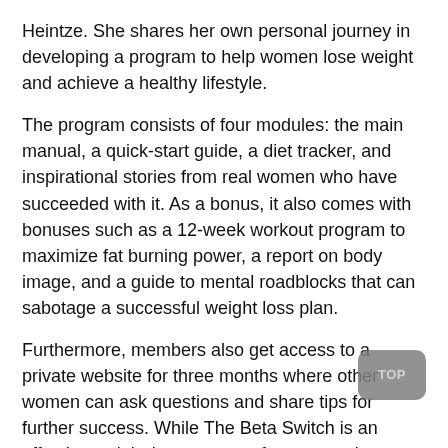Heintze. She shares her own personal journey in developing a program to help women lose weight and achieve a healthy lifestyle.
The program consists of four modules: the main manual, a quick-start guide, a diet tracker, and inspirational stories from real women who have succeeded with it. As a bonus, it also comes with bonuses such as a 12-week workout program to maximize fat burning power, a report on body image, and a guide to mental roadblocks that can sabotage a successful weight loss plan.
Furthermore, members also get access to a private website for three months where other women can ask questions and share tips for further success. While The Beta Switch is an effective weight-loss program for women, it doesn't address the issues that most men face when trying to lose weight.
The program is made for real women, and its content is geared towards their unique body composition. Sue Heinzte includes a PDF with real-life success stories from women who have